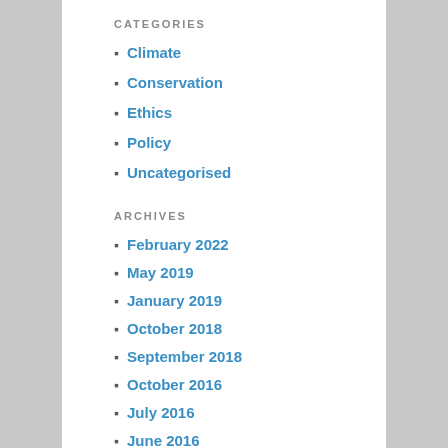CATEGORIES
Climate
Conservation
Ethics
Policy
Uncategorised
ARCHIVES
February 2022
May 2019
January 2019
October 2018
September 2018
October 2016
July 2016
June 2016
May 2016
March 2016
August 2015